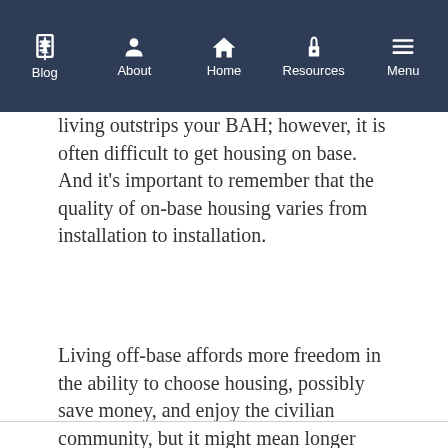Blog | About | Home | Resources | Menu
living outstrips your BAH; however, it is often difficult to get housing on base. And it’s important to remember that the quality of on-base housing varies from installation to installation.
Living off-base affords more freedom in the ability to choose housing, possibly save money, and enjoy the civilian community, but it might mean longer drive times to the base for work, shopping, and any on-base activities or organizations you may belong to. Depending on the housing market in your area, it might also be incredibly difficult to find and rent or purchase housing, which can be stressful and frustrating, too.